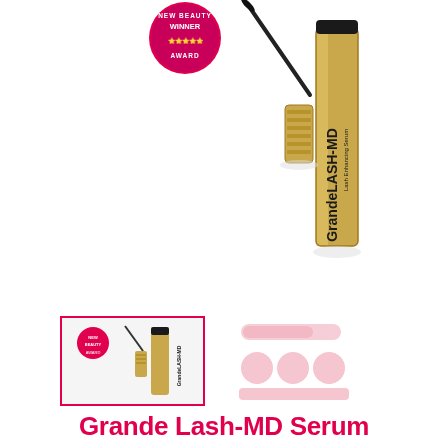[Figure (photo): GrandeLASH-MD lash enhancing serum product photo showing mascara wand and gold tube with NewBeauty Award Winner badge]
[Figure (photo): Thumbnail 1 (selected, pink border): GrandeLASH-MD product small image]
[Figure (photo): Thumbnail 2: GrandeLASH-MD product lifestyle/info image with pink circles]
Grande Lash-MD Serum